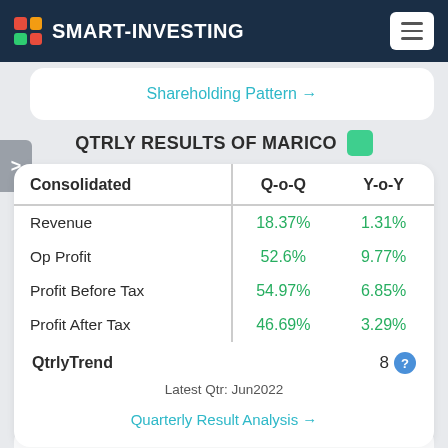SMART-INVESTING
Shareholding Pattern →
QTRLY RESULTS OF MARICO
| Consolidated | Q-o-Q | Y-o-Y |
| --- | --- | --- |
| Revenue | 18.37% | 1.31% |
| Op Profit | 52.6% | 9.77% |
| Profit Before Tax | 54.97% | 6.85% |
| Profit After Tax | 46.69% | 3.29% |
QtrlyTrend   8 ?
Latest Qtr: Jun2022
Quarterly Result Analysis →